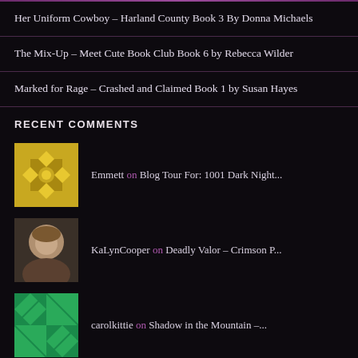Her Uniform Cowboy – Harland County Book 3 By Donna Michaels
The Mix-Up – Meet Cute Book Club Book 6 by Rebecca Wilder
Marked for Rage – Crashed and Claimed Book 1 by Susan Hayes
RECENT COMMENTS
Emmett on Blog Tour For: 1001 Dark Night...
KaLynCooper on Deadly Valor – Crimson P...
carolkittie on Shadow in the Mountain –...
Teresa Reasor on Broken Bonds – The Bonds...